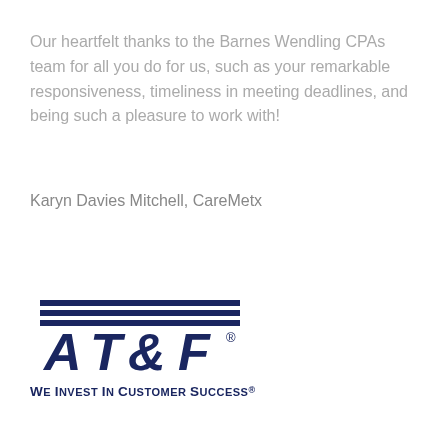Our heartfelt thanks to the Barnes Wendling CPAs team for all you do for us, such as your remarkable responsiveness, timeliness in meeting deadlines, and being such a pleasure to work with!
Karyn Davies Mitchell, CareMetx
[Figure (logo): AT&F logo with italic bold letters and horizontal lines above, registered trademark symbol, and tagline 'We Invest In Customer Success' in dark navy blue]